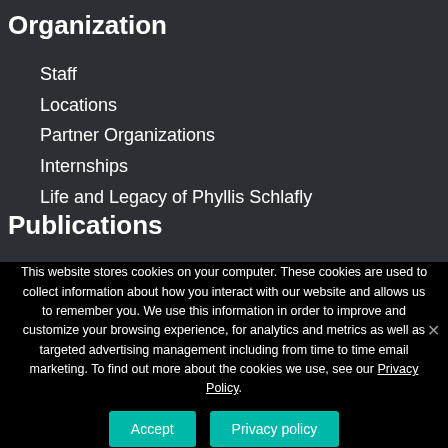Organization
Staff
Locations
Partner Organizations
Internships
Life and Legacy of Phyllis Schlafly
Publications
This website stores cookies on your computer. These cookies are used to collect information about how you interact with our website and allows us to remember you. We use this information in order to improve and customize your browsing experience, for analytics and metrics as well as targeted advertising management including from time to time email marketing. To find out more about the cookies we use, see our Privacy Policy.
Accept
Privacy policy